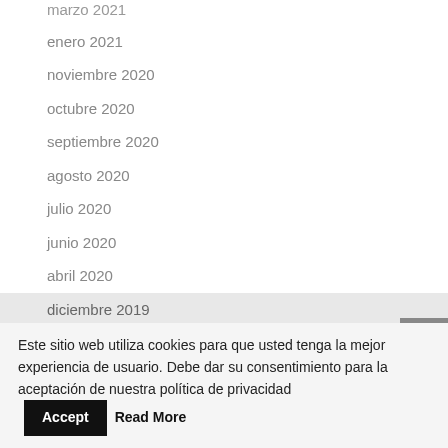marzo 2021
enero 2021
noviembre 2020
octubre 2020
septiembre 2020
agosto 2020
julio 2020
junio 2020
abril 2020
diciembre 2019
Este sitio web utiliza cookies para que usted tenga la mejor experiencia de usuario. Debe dar su consentimiento para la aceptación de nuestra política de privacidad Accept Read More